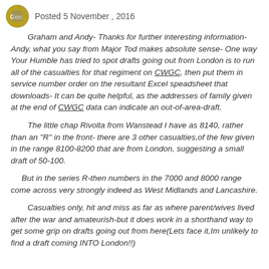Posted 5 November , 2016
Graham and Andy-  Thanks for further interesting information- Andy, what you say from Major Tod makes absolute sense- One way Your Humble has tried to spot drafts going out from London is to run all of the casualties for that regiment on CWGC, then put them in service number order on the resultant Excel speadsheet that downloads- It can be quite helpful, as the addresses of family given at the end of CWGC data can indicate an out-of-area-draft.
The little chap Rivolta from Wanstead I have as 8140, rather than an "R" in the front-  there are 3 other casualties,of the few given in the range 8100-8200 that are from London, suggesting a small draft of 50-100.
But in the series R-then numbers in the 7000 and 8000 range come across very strongly indeed as West Midlands and Lancashire.
Casualties only, hit and miss as far as where parent/wives lived after the war and amateurish-but it does work in a shorthand way to get some grip on drafts going out from here(Lets face it,Im unlikely to find a draft coming INTO London!!)